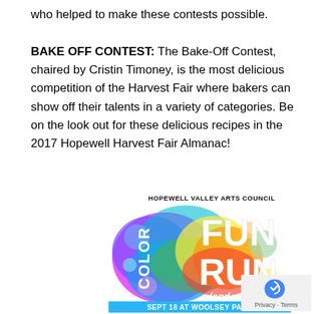who helped to make these contests possible.

BAKE OFF CONTEST: The Bake-Off Contest, chaired by Cristin Timoney, is the most delicious competition of the Harvest Fair where bakers can show off their talents in a variety of categories. Be on the look out for these delicious recipes in the 2017 Hopewell Harvest Fair Almanac!
[Figure (illustration): Hopewell Valley Arts Council Color Fun Run (and walk!) advertisement. Colorful paint splatter background with rainbow colors. Text reads: HOPEWELL VALLEY ARTS COUNCIL, COLOR FUN RUN (and walk!), SEPT 18 AT WOOLSEY PARK]